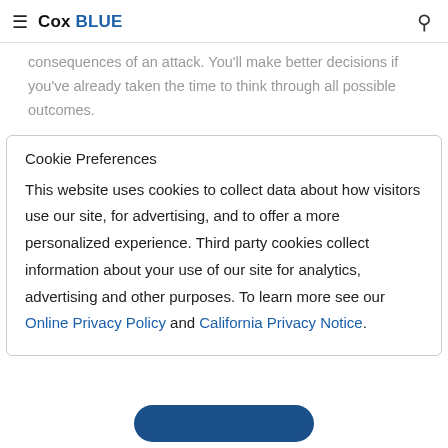Cox BLUE
consequences of an attack. You'll make better decisions if you've already taken the time to think through all possible outcomes.
Cookie Preferences
This website uses cookies to collect data about how visitors use our site, for advertising, and to offer a more personalized experience. Third party cookies collect information about your use of our site for analytics, advertising and other purposes. To learn more see our Online Privacy Policy and California Privacy Notice.